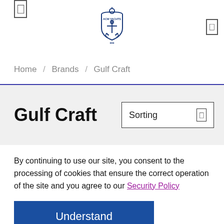[Figure (logo): ACM Yachts anchor logo in dark blue, centered in header]
Home / Brands / Gulf Craft
Gulf Craft
Sorting
By continuing to use our site, you consent to the processing of cookies that ensure the correct operation of the site and you agree to our Security Policy
Understand